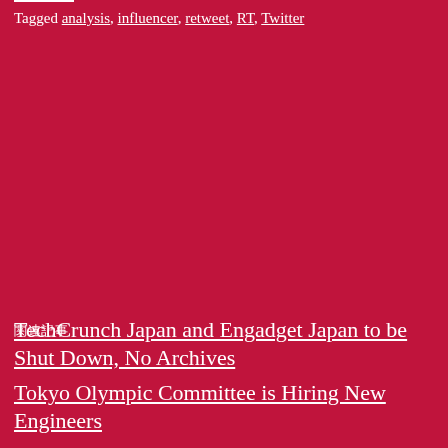Tagged analysis, influencer, retweet, RT, Twitter
関連記事
TechCrunch Japan and Engadget Japan to be Shut Down, No Archives
Tokyo Olympic Committee is Hiring New Engineers